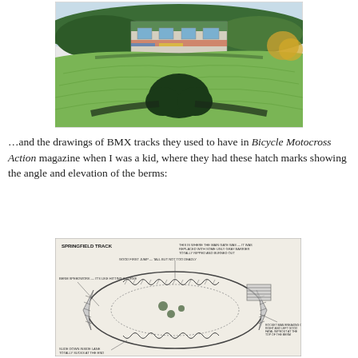[Figure (illustration): Watercolor or painting illustration of a BMX track facility from aerial/elevated perspective, showing a building with green roof, green field with curved track lines, trees and spectators visible.]
…and the drawings of BMX tracks they used to have in Bicycle Motocross Action magazine when I was a kid, where they had these hatch marks showing the angle and elevation of the berms:
[Figure (illustration): Black and white technical drawing/diagram of 'SPRINGFIELD TRACK' — a BMX track layout showing an oval course with jumps, berms, and hatch marks indicating elevation and angles. Multiple annotation labels point to features of the track including jumps and berms.]